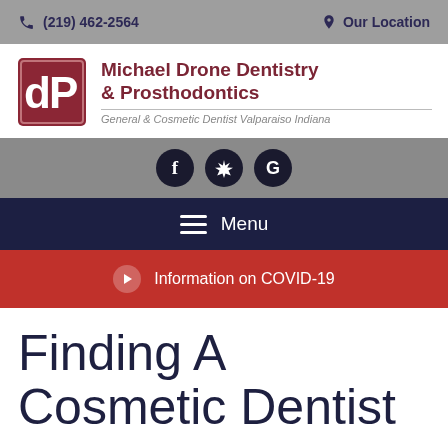(219) 462-2564  Our Location
[Figure (logo): Michael Drone Dentistry & Prosthodontics logo with red square containing white 'dP' letters and maroon text reading 'Michael Drone Dentistry & Prosthodontics' and subtitle 'General & Cosmetic Dentist Valparaiso Indiana']
[Figure (infographic): Social media icons row: Facebook (f), Yelp (star/flower), Google (G), shown as dark circles on gray background]
Menu
Information on COVID-19
Finding A Cosmetic Dentist